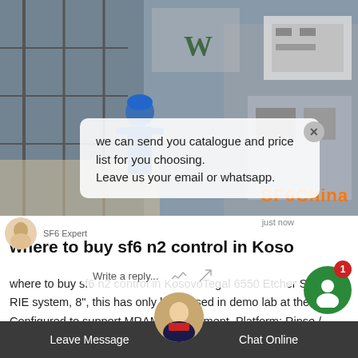[Figure (screenshot): Industrial facility photo showing worker in blue hard hat and electrical equipment, used as webpage background]
we can send you catalogue and price list for you choosing.
Leave us your email or whatsapp.
SF6 Expert   just now
where to buy sf6 n2 control in Koso
where to buy sf6 n2 control in KosovoTegal 6550 Etcher System. RIE system, 8", this has only been used in demo lab at the OEM. Configured to support MRAM development. Platform: Rinse / strip, through-the-wall, signal tower, CE Marked. PDM: Standard. AC Supply: 400V, 3 Phase, 50Hz, 5 Wire (Can be easily configured for USA operation
Leave Message
Chat Online